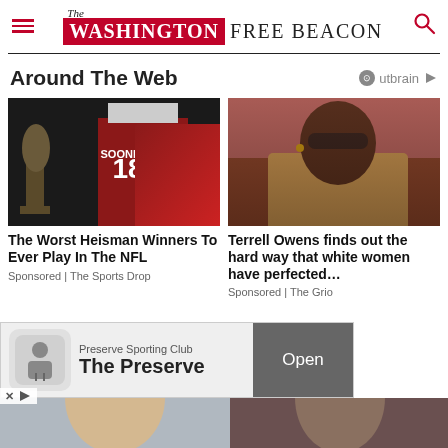The Washington Free Beacon
Around The Web
[Figure (photo): Football player in Oklahoma Sooners #18 jersey posing with Heisman Trophy statue]
The Worst Heisman Winners To Ever Play In The NFL
Sponsored | The Sports Drop
[Figure (photo): Man wearing sunglasses and tan blazer at a sporting event, identified as Terrell Owens]
Terrell Owens finds out the hard way that white women have perfected…
Sponsored | The Grio
[Figure (photo): Advertisement banner for Preserve Sporting Club - The Preserve with Open button]
[Figure (photo): Partially visible person at the bottom of the page]